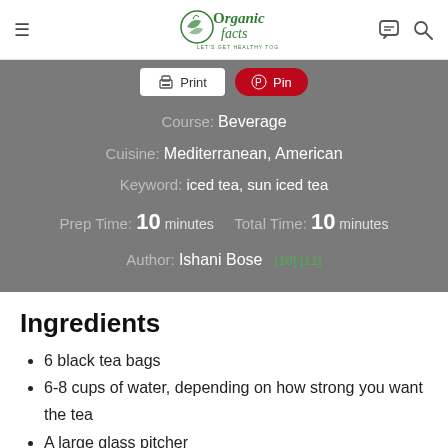Organic Facts — Let's get healthy together
[Figure (screenshot): Print and Pin buttons for recipe]
Course: Beverage
Cuisine: Mediterranean, American
Keyword: iced tea, sun iced tea
Prep Time: 10 minutes   Total Time: 10 minutes
Author: Ishani Bose   [10] [11]
Ingredients
6 black tea bags
6-8 cups of water, depending on how strong you want the tea
A large glass pitcher
6 lemon slices for sweetness (if desired)
1 tsp of honey